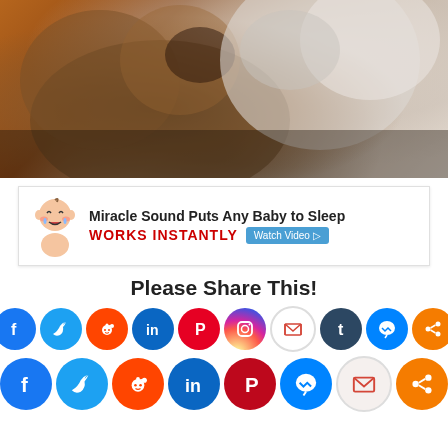[Figure (photo): Close-up blurry photo of a brown dog and white cat nuzzling or touching noses/faces together]
[Figure (infographic): Advertisement banner: baby emoji icon, text 'Miracle Sound Puts Any Baby to Sleep', 'WORKS INSTANTLY' in red, 'Watch Video' button]
Please Share This!
[Figure (infographic): Row of social media share icons: Facebook, Twitter, Reddit, LinkedIn, Pinterest, Instagram, Gmail, Tumblr, Messenger, Share]
[Figure (infographic): Second row of social media share icons: Facebook, Twitter, Reddit, LinkedIn, Pinterest, Messenger, Gmail, Share]